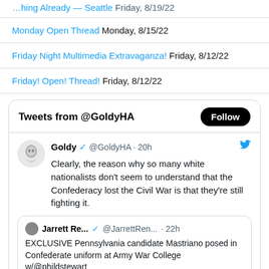Monday Open Thread Monday, 8/15/22
Friday Night Multimedia Extravaganza! Friday, 8/12/22
Friday! Open! Thread! Friday, 8/12/22
[Figure (screenshot): Embedded Twitter widget showing tweets from @GoldyHA with a Follow button. A tweet by Goldy @GoldyHA 20h reads: Clearly, the reason why so many white nationalists don't seem to understand that the Confederacy lost the Civil War is that they're still fighting it. Below is a quoted tweet by Jarrett Re... @JarrettRen... 22h reading: EXCLUSIVE Pennsylvania candidate Mastriano posed in Confederate uniform at Army War College w/@phildstewart]